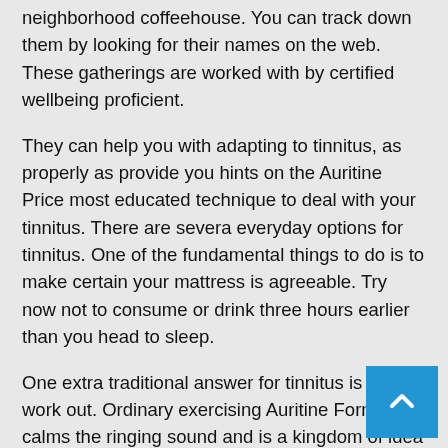neighborhood coffeehouse. You can track down them by looking for their names on the web. These gatherings are worked with by certified wellbeing proficient.
They can help you with adapting to tinnitus, as properly as provide you hints on the Auritine Price most educated technique to deal with your tinnitus. There are severa everyday options for tinnitus. One of the fundamental things to do is to make certain your mattress is agreeable. Try now not to consume or drink three hours earlier than you head to sleep.
One extra traditional answer for tinnitus is to work out. Ordinary exercising Auritine Formula calms the ringing sound and is a kingdom of idea promoter. Observe a care team for tinnitus victims and find out with regards to of adapting to the condition.